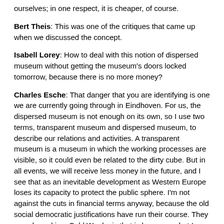ourselves; in one respect, it is cheaper, of course.
Bert Theis: This was one of the critiques that came up when we discussed the concept.
Isabell Lorey: How to deal with this notion of dispersed museum without getting the museum's doors locked tomorrow, because there is no more money?
Charles Esche: That danger that you are identifying is one we are currently going through in Eindhoven. For us, the dispersed museum is not enough on its own, so I use two terms, transparent museum and dispersed museum, to describe our relations and activities. A transparent museum is a museum in which the working processes are visible, so it could even be related to the dirty cube. But in all events, we will receive less money in the future, and I see that as an inevitable development as Western Europe loses its capacity to protect the public sphere. I'm not against the cuts in financial terms anyway, because the old social democratic justifications have run their course. They were based in a Cold War logic that is long gone, but I want those of us engaged with, let's say, the emancipatory side of the art world to develop new rationales and ideological discourses for the public funding of art institutions. Closing the museum or sharing its collection are all possible for me if it makes something more urgent or vivid possible in the process. Much as with Isola Art Center, it is not money that is the defining aspect of art's potentiality.